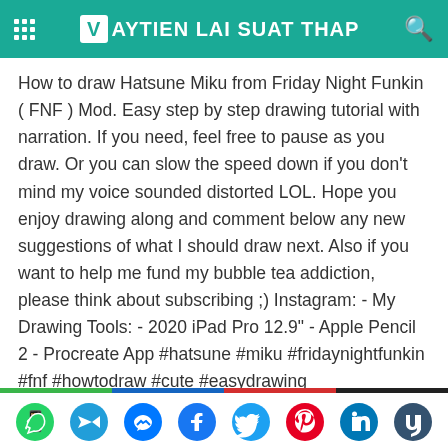VAYTIEN LAI SUAT THAP
How to draw Hatsune Miku from Friday Night Funkin ( FNF ) Mod. Easy step by step drawing tutorial with narration. If you need, feel free to pause as you draw. Or you can slow the speed down if you don't mind my voice sounded distorted LOL. Hope you enjoy drawing along and comment below any new suggestions of what I should draw next. Also if you want to help me fund my bubble tea addiction, please think about subscribing ;) Instagram: - My Drawing Tools: - 2020 iPad Pro 12.9" - Apple Pencil 2 - Procreate App #hatsune #miku #fridaynightfunkin #fnf #howtodraw #cute #easydrawing #drawingtutorial #stepbystep #tutorial
[Figure (infographic): Social sharing icons row: WhatsApp, Telegram, Messenger, Facebook, Twitter, Pinterest, LinkedIn, Tumblr]